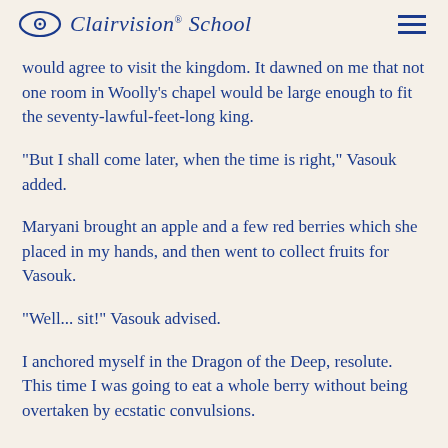Clairvision® School
would agree to visit the kingdom. It dawned on me that not one room in Woolly's chapel would be large enough to fit the seventy-lawful-feet-long king.
"But I shall come later, when the time is right," Vasouk added.
Maryani brought an apple and a few red berries which she placed in my hands, and then went to collect fruits for Vasouk.
"Well... sit!" Vasouk advised.
I anchored myself in the Dragon of the Deep, resolute. This time I was going to eat a whole berry without being overtaken by ecstatic convulsions.